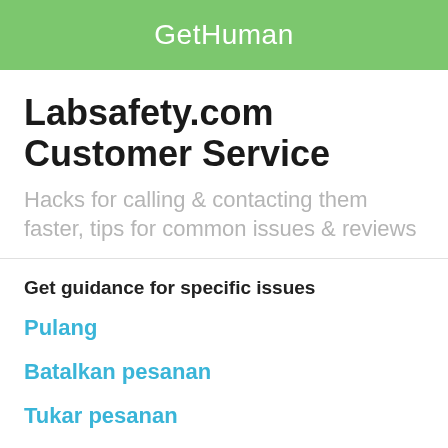GetHuman
Labsafety.com Customer Service
Hacks for calling & contacting them faster, tips for common issues & reviews
Get guidance for specific issues
Pulang
Batalkan pesanan
Tukar pesanan
Susunan trek